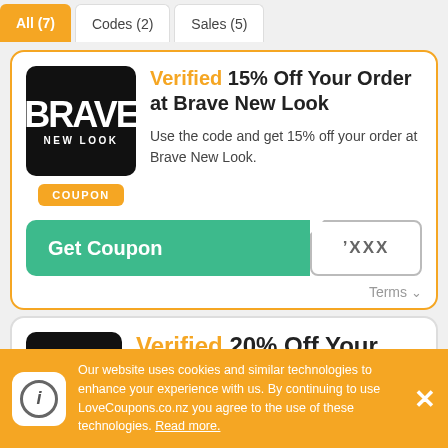All (7) | Codes (2) | Sales (5)
Verified 15% Off Your Order at Brave New Look
Use the code and get 15% off your order at Brave New Look.
COUPON
Get Coupon 'XXX
Terms
Verified 20% Off Your
Our website uses cookies and similar technologies to enhance your experience with us. By continuing to use LoveCoupons.co.nz you agree to the use of these technologies. Read more.